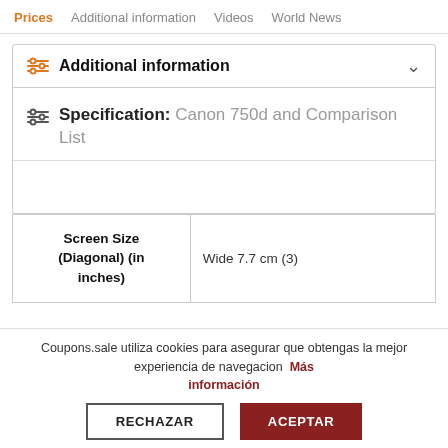Prices  Additional information  Videos  World News
Additional information
Specification: Canon 750d and Comparison List
| Screen Size (Diagonal) (in inches) | Wide 7.7 cm (3) |
| --- | --- |
Coupons.sale utiliza cookies para asegurar que obtengas la mejor experiencia de navegacion  Más información
RECHAZAR  ACEPTAR